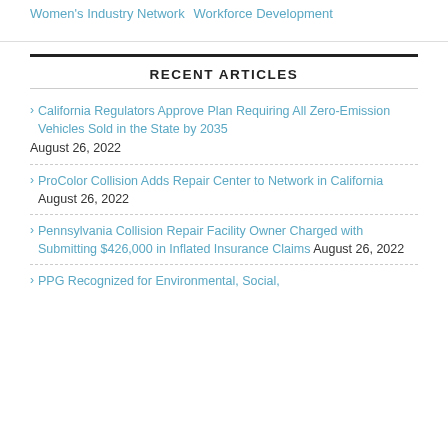Women's Industry Network  Workforce Development
RECENT ARTICLES
California Regulators Approve Plan Requiring All Zero-Emission Vehicles Sold in the State by 2035  August 26, 2022
ProColor Collision Adds Repair Center to Network in California  August 26, 2022
Pennsylvania Collision Repair Facility Owner Charged with Submitting $426,000 in Inflated Insurance Claims  August 26, 2022
PPG Recognized for Environmental, Social,